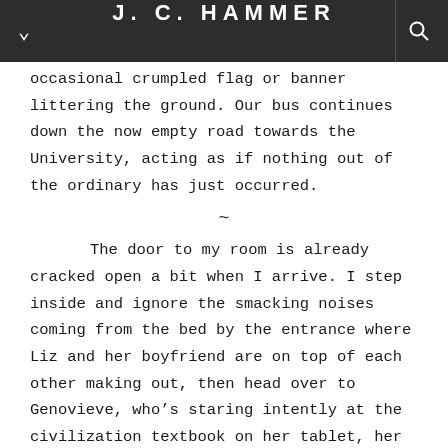J. C. HAMMER
occasional crumpled flag or banner littering the ground. Our bus continues down the now empty road towards the University, acting as if nothing out of the ordinary has just occurred.
~
The door to my room is already cracked open a bit when I arrive. I step inside and ignore the smacking noises coming from the bed by the entrance where Liz and her boyfriend are on top of each other making out, then head over to Genovieve, who’s staring intently at the civilization textbook on her tablet, her hand raised to her head to block out her peripherals.